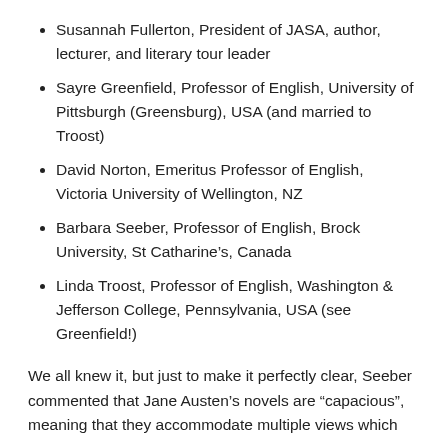Susannah Fullerton, President of JASA, author, lecturer, and literary tour leader
Sayre Greenfield, Professor of English, University of Pittsburgh (Greensburg), USA (and married to Troost)
David Norton, Emeritus Professor of English, Victoria University of Wellington, NZ
Barbara Seeber, Professor of English, Brock University, St Catharine's, Canada
Linda Troost, Professor of English, Washington & Jefferson College, Pennsylvania, USA (see Greenfield!)
We all knew it, but just to make it perfectly clear, Seeber commented that Jane Austen's novels are “capacious”, meaning that they accommodate multiple views which